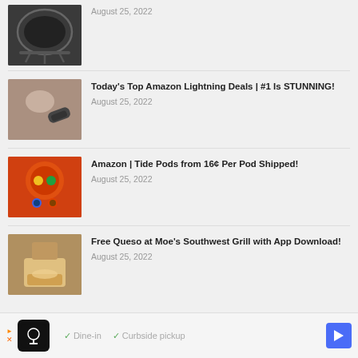[Figure (photo): Black fire pit bowl on legs, viewed from above slightly]
August 25, 2022
[Figure (photo): Person lying down receiving massage with device]
Today's Top Amazon Lightning Deals | #1 Is STUNNING!
August 25, 2022
[Figure (photo): Orange Tide Pods container with laundry pods held in hand]
Amazon | Tide Pods from 16¢ Per Pod Shipped!
August 25, 2022
[Figure (photo): Food with queso dip from Moe's Southwest Grill]
Free Queso at Moe's Southwest Grill with App Download!
August 25, 2022
▶ ✕  Dine-in  ✓ Curbside pickup  ➤